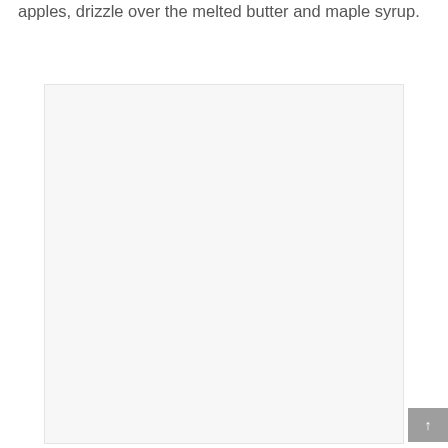apples, drizzle over the melted butter and maple syrup.
[Figure (photo): Large light gray placeholder image block]
↑